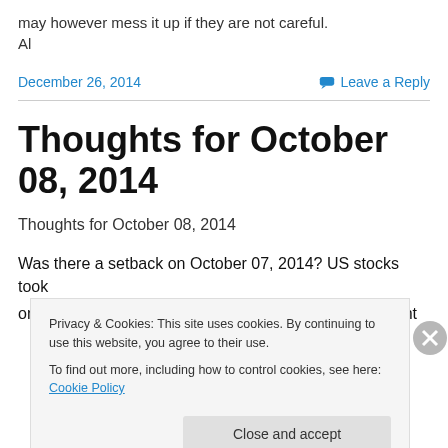may however mess it up if they are not careful.
Al
December 26, 2014
Leave a Reply
Thoughts for October 08, 2014
Thoughts for October 08, 2014
Was there a setback on October 07, 2014? US stocks took one of their most precipitous drop since July, a 275 point
Privacy & Cookies: This site uses cookies. By continuing to use this website, you agree to their use.
To find out more, including how to control cookies, see here: Cookie Policy
Close and accept